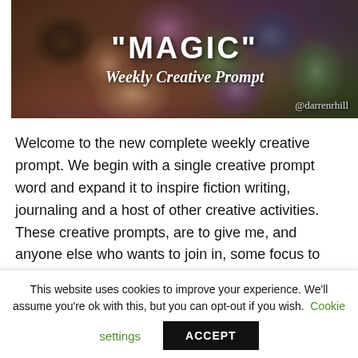[Figure (photo): Banner image with colorful crystals/gemstones in background. Text overlay reads: "MAGIC" Weekly Creative Prompt @darrenrhill]
Welcome to the new complete weekly creative prompt. We begin with a single creative prompt word and expand it to inspire fiction writing, journaling and a host of other creative activities. These creative prompts, are to give me, and anyone else who wants to join in, some focus to our
This website uses cookies to improve your experience. We'll assume you're ok with this, but you can opt-out if you wish. Cookie settings ACCEPT